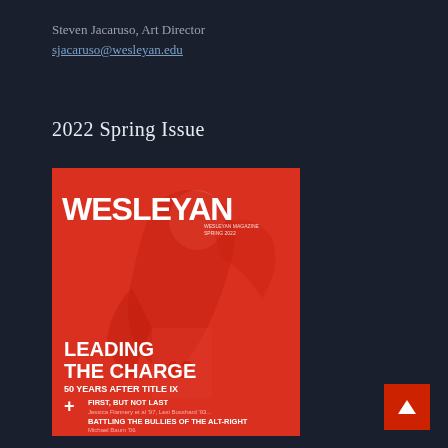Steven Jacaruso, Art Director
sjacaruso@wesleyan.edu
2022 Spring Issue
[Figure (photo): Cover of Wesleyan magazine Spring 2022 issue on red background featuring an athlete with text 'LEADING THE CHARGE 50 YEARS AFTER TITLE IX' and article teases: 'FIRST, BUT NOT LAST', 'BATTLING THE BULLIES OF THE ALT-RIGHT', 'RECLAIMING THE STOKE']